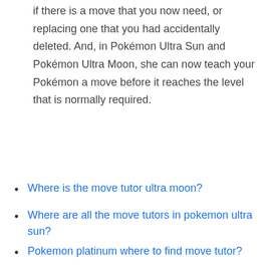if there is a move that you now need, or replacing one that you had accidentally deleted. And, in Pokémon Ultra Sun and Pokémon Ultra Moon, she can now teach your Pokémon a move before it reaches the level that is normally required.
Where is the move tutor ultra moon?
Where are all the move tutors in pokemon ultra sun?
Pokemon platinum where to find move tutor?
🔲 Where's the move tutor in pokemon ultra moon?